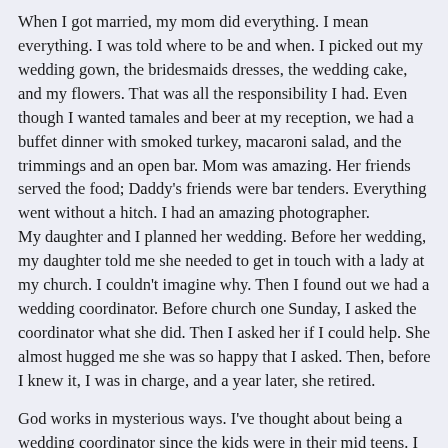When I got married, my mom did everything. I mean everything. I was told where to be and when. I picked out my wedding gown, the bridesmaids dresses, the wedding cake, and my flowers. That was all the responsibility I had. Even though I wanted tamales and beer at my reception, we had a buffet dinner with smoked turkey, macaroni salad, and the trimmings and an open bar. Mom was amazing. Her friends served the food; Daddy's friends were bar tenders. Everything went without a hitch. I had an amazing photographer.
My daughter and I planned her wedding. Before her wedding, my daughter told me she needed to get in touch with a lady at my church. I couldn't imagine why. Then I found out we had a wedding coordinator. Before church one Sunday, I asked the coordinator what she did. Then I asked her if I could help. She almost hugged me she was so happy that I asked. Then, before I knew it, I was in charge, and a year later, she retired.
God works in mysterious ways. I've thought about being a wedding coordinator since the kids were in their mid teens. I even made business cards (Alana's Weddings), and researched venues and caterers. But I was still in school and the kids were just getting into their teens, so I dismissed it. But it just found me. There's a...